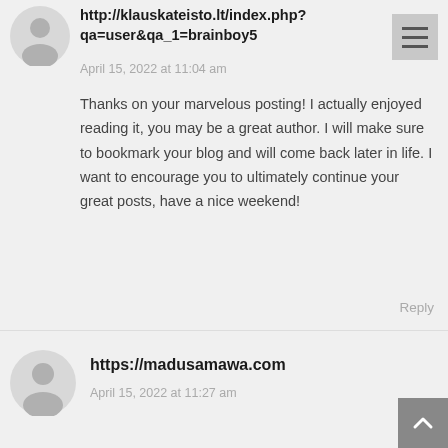http://klauskateisto.lt/index.php?qa=user&qa_1=brainboy5
April 15, 2022 at 11:04 am
Thanks on your marvelous posting! I actually enjoyed reading it, you may be a great author. I will make sure to bookmark your blog and will come back later in life. I want to encourage you to ultimately continue your great posts, have a nice weekend!
Reply
https://madusamawa.com
April 15, 2022 at 11:27 am